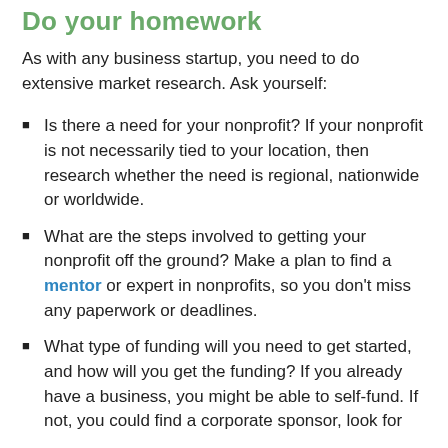Do your homework
As with any business startup, you need to do extensive market research. Ask yourself:
Is there a need for your nonprofit? If your nonprofit is not necessarily tied to your location, then research whether the need is regional, nationwide or worldwide.
What are the steps involved to getting your nonprofit off the ground? Make a plan to find a mentor or expert in nonprofits, so you don't miss any paperwork or deadlines.
What type of funding will you need to get started, and how will you get the funding? If you already have a business, you might be able to self-fund. If not, you could find a corporate sponsor, look for